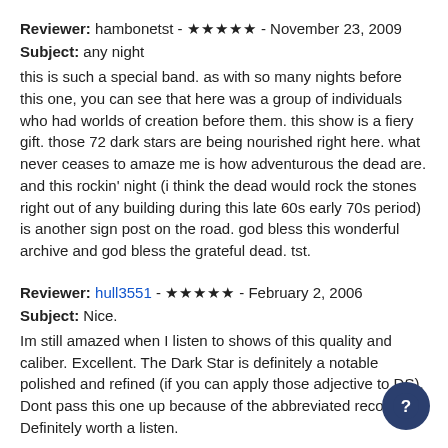Reviewer: hambonetst - ★★★★★ - November 23, 2009
Subject: any night
this is such a special band. as with so many nights before this one, you can see that here was a group of individuals who had worlds of creation before them. this show is a fiery gift. those 72 dark stars are being nourished right here. what never ceases to amaze me is how adventurous the dead are. and this rockin' night (i think the dead would rock the stones right out of any building during this late 60s early 70s period) is another sign post on the road. god bless this wonderful archive and god bless the grateful dead. tst.
Reviewer: hull3551 - ★★★★★ - February 2, 2006
Subject: Nice.
Im still amazed when I listen to shows of this quality and caliber. Excellent. The Dark Star is definitely a notable polished and refined (if you can apply those adjective to DS). Dont pass this one up because of the abbreviated recording. Definitely worth a listen.
Reviewer: hyperboy - ★★★★★ - September 28, 2005
Subject: rest of show?